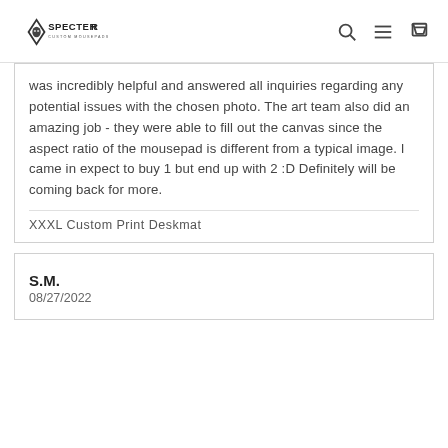SPECTER CUSTOM MOUSEPADS
was incredibly helpful and answered all inquiries regarding any potential issues with the chosen photo. The art team also did an amazing job - they were able to fill out the canvas since the aspect ratio of the mousepad is different from a typical image. I came in expect to buy 1 but end up with 2 :D Definitely will be coming back for more.
XXXL Custom Print Deskmat
S.M.
08/27/2022